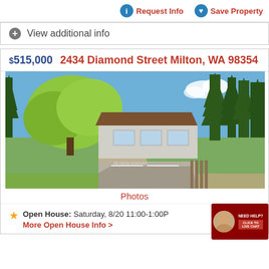Request Info  Save Property
View additional info
$515,000  2434 Diamond Street Milton, WA 98354
[Figure (photo): Exterior photo of a two-story house at 2434 Diamond Street Milton WA 98354, with a two-car garage, large trees, and a driveway]
Photos
Open House:  Saturday, 8/20 11:00-1:00PM
More Open House Info >